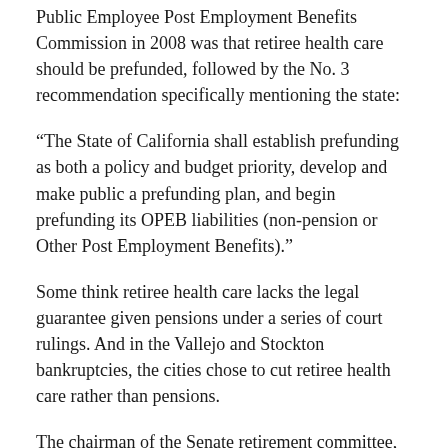Public Employee Post Employment Benefits Commission in 2008 was that retiree health care should be prefunded, followed by the No. 3 recommendation specifically mentioning the state:
“The State of California shall establish prefunding as both a policy and budget priority, develop and make public a prefunding plan, and begin prefunding its OPEB liabilities (non-pension or Other Post Employment Benefits).”
Some think retiree health care lacks the legal guarantee given pensions under a series of court rulings. And in the Vallejo and Stockton bankruptcies, the cities chose to cut retiree health care rather than pensions.
The chairman of the Senate retirement committee, Jim Beall, D-San Jose, mentioned another issue, containing rising health care costs, as the panel